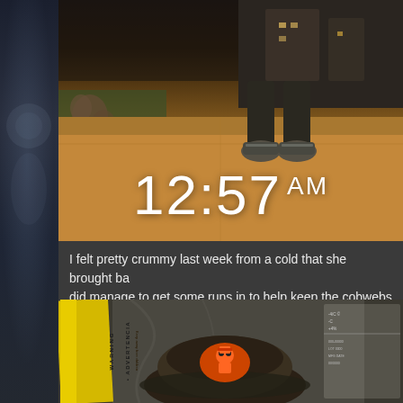[Figure (photo): Night-time outdoor photo showing person's legs/shoes on a sidewalk with timestamp overlay reading 12:57 AM]
I felt pretty crummy last week from a cold that she brought ba... did manage to get some runs in to help keep the cobwebs fro...
[Figure (photo): Close-up photo of a jacket with warning/advertencia label tape and a Cleveland Browns cap]